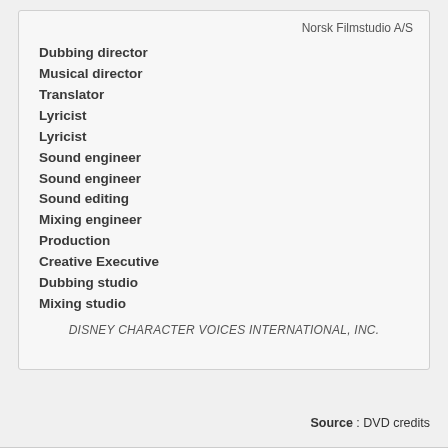Norsk Filmstudio A/S
Dubbing director
Musical director
Translator
Lyricist
Lyricist
Sound engineer
Sound engineer
Sound editing
Mixing engineer
Production
Creative Executive
Dubbing studio
Mixing studio
DISNEY CHARACTER VOICES INTERNATIONAL, INC.
Source : DVD credits